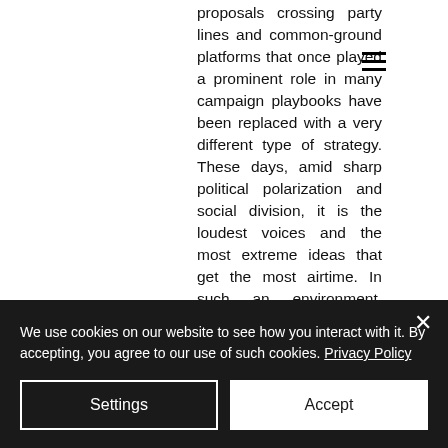[Figure (logo): BFI logo — white letters on gold/tan square background]
proposals crossing party lines and common-ground platforms that once played a prominent role in many campaign playbooks have been replaced with a very different type of strategy. These days, amid sharp political polarization and social division, it is the loudest voices and the most extreme ideas that get the most airtime. In such an environment, where emotional arguments routinely reign over facts and logic, policy platforms have dra- matically shifted their focus to style over substance.
This trend can be spotted in many countries in the West, but it is arguably most apparent in the US, where the next election is already on the horizon
We use cookies on our website to see how you interact with it. By accepting, you agree to our use of such cookies. Privacy Policy